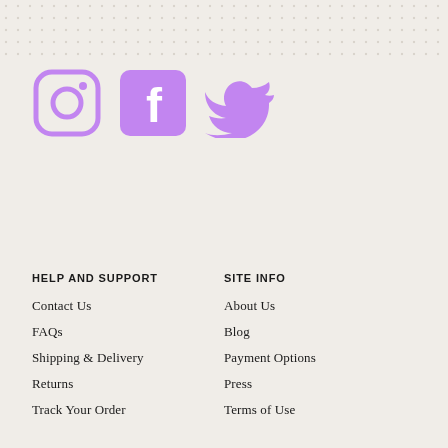[Figure (illustration): Dotted pattern decorative background at top of page]
[Figure (illustration): Three social media icons: Instagram (outline circle with camera), Facebook (purple square with f), Twitter (purple bird silhouette)]
HELP AND SUPPORT
Contact Us
FAQs
Shipping & Delivery
Returns
Track Your Order
SITE INFO
About Us
Blog
Payment Options
Press
Terms of Use